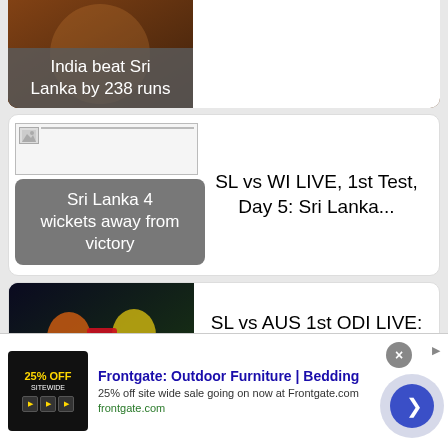[Figure (photo): Cricket match photo partially visible at top - India vs Sri Lanka]
India beat Sri Lanka by 238 runs
[Figure (photo): Broken/missing image placeholder for SL vs WI match]
SL vs WI LIVE, 1st Test, Day 5: Sri Lanka...
Sri Lanka 4 wickets away from victory
[Figure (photo): SL vs AUS cricket match promo image showing two players facing off]
SL vs AUS 1st ODI LIVE: After losing the three-match...
Sri Lanka aim to...
Frontgate: Outdoor Furniture | Bedding
25% off site wide sale going on now at Frontgate.com
frontgate.com